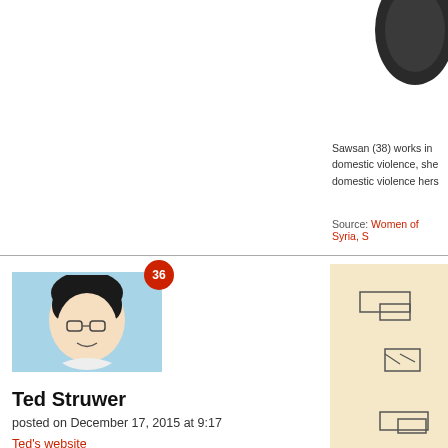[Figure (photo): Partial dark object visible in top-right corner]
Sawsan (38) works in domestic violence, she domestic violence hers
Source: Women of Syria, S
[Figure (illustration): Portrait illustration of Ted Struwer with blue background and badge showing 36]
Ted Struwer
posted on December 17, 2015 at 9:17
Ted's website
[Figure (illustration): Sketch/diagram on peach/beige background showing rectangular shapes]